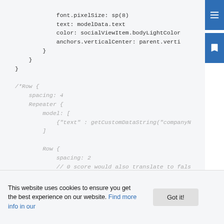[Figure (screenshot): Code snippet showing QML/Qt-like markup with properties font.pixelSize, text, color, anchors, Row, Repeater, model, Icon blocks and a cookie consent banner overlay]